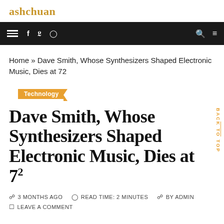ashchuan
Home » Dave Smith, Whose Synthesizers Shaped Electronic Music, Dies at 72
Technology
Dave Smith, Whose Synthesizers Shaped Electronic Music, Dies at 72
3 MONTHS AGO  READ TIME: 2 MINUTES  BY ADMIN
LEAVE A COMMENT